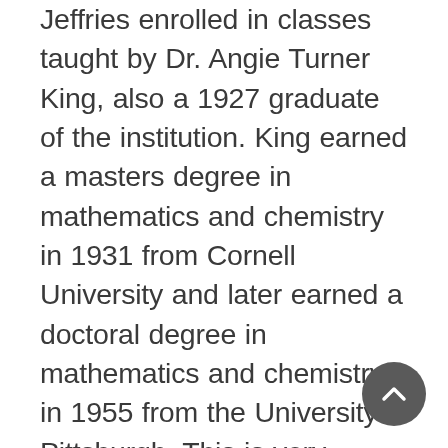Jeffries enrolled in classes taught by Dr. Angie Turner King, also a 1927 graduate of the institution. King earned a masters degree in mathematics and chemistry in 1931 from Cornell University and later earned a doctoral degree in mathematics and chemistry in 1955 from the University of Pittsburgh. This is very significant because King represented the small numbers of African American women earning graduate degrees in the STEM (science, technology, engineering, mathematics) fields during this time period. It is highly plausible that King encouraged Jeffries to further his education and pursue a graduate degree. After earning his B.S. degree from West Virginia State College, Jeffries briefly attended the University of